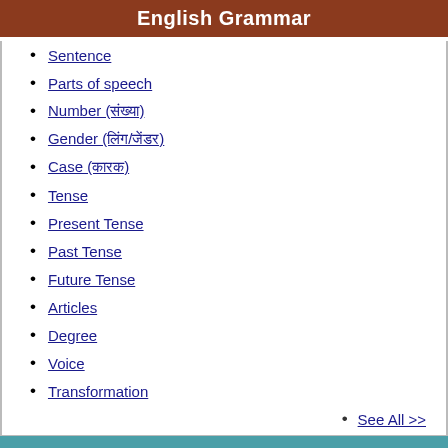English Grammar
Sentence
Parts of speech
Number (संख्या)
Gender (लिंग/जेंडर)
Case (कारक)
Tense
Present Tense
Past Tense
Future Tense
Articles
Degree
Voice
Transformation
See All >>